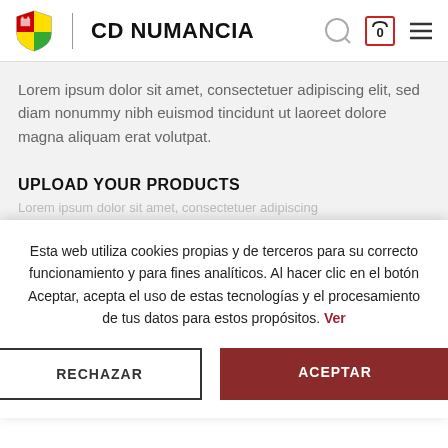CD NUMANCIA
Lorem ipsum dolor sit amet, consectetuer adipiscing elit, sed diam nonummy nibh euismod tincidunt ut laoreet dolore magna aliquam erat volutpat.
UPLOAD YOUR PRODUCTS
Lorem ipsum dolor sit amet, consectetuer adipiscing
Esta web utiliza cookies propias y de terceros para su correcto funcionamiento y para fines analíticos. Al hacer clic en el botón Aceptar, acepta el uso de estas tecnologías y el procesamiento de tus datos para estos propósitos. Ver